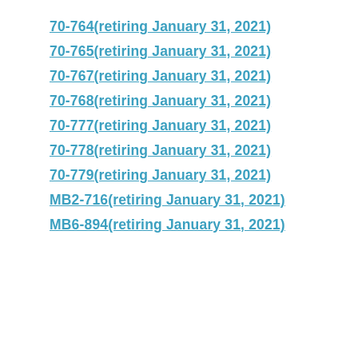70-764(retiring January 31, 2021)
70-765(retiring January 31, 2021)
70-767(retiring January 31, 2021)
70-768(retiring January 31, 2021)
70-777(retiring January 31, 2021)
70-778(retiring January 31, 2021)
70-779(retiring January 31, 2021)
MB2-716(retiring January 31, 2021)
MB6-894(retiring January 31, 2021)